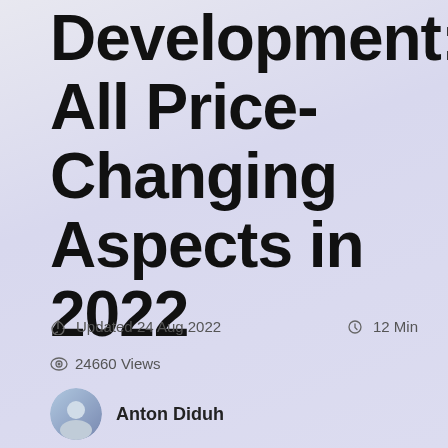Development: All Price-Changing Aspects in 2022
Updated 24 Aug 2022   12 Min
24660 Views
Anton Diduh